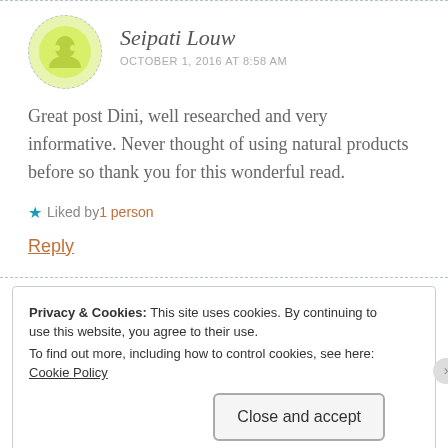Seipati Louw — OCTOBER 1, 2016 AT 8:58 AM
Great post Dini, well researched and very informative. Never thought of using natural products before so thank you for this wonderful read.
★ Liked by 1 person
Reply
Privacy & Cookies: This site uses cookies. By continuing to use this website, you agree to their use.
To find out more, including how to control cookies, see here: Cookie Policy
Close and accept